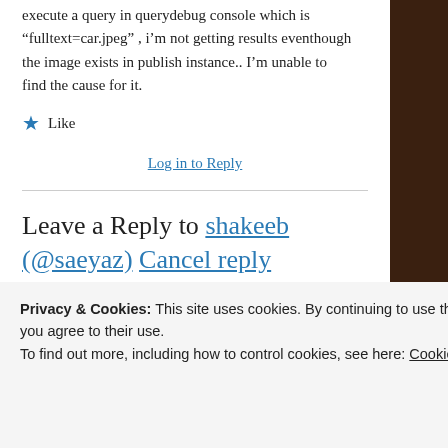execute a query in querydebug console which is “fulltext=car.jpeg” , i’m not getting results eventhough the image exists in publish instance.. I’m unable to find the cause for it.
★ Like
Log in to Reply
Leave a Reply to shakeeb (@saeyaz) Cancel reply
You must be logged in to post a comment.
Privacy & Cookies: This site uses cookies. By continuing to use this website, you agree to their use.
To find out more, including how to control cookies, see here: Cookie Policy
Close and accept